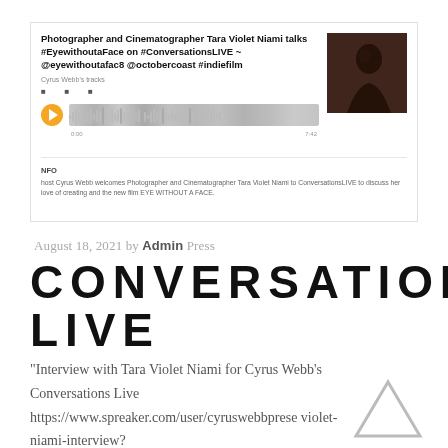[Figure (screenshot): Spreaker podcast embed showing episode: 'Photographer and Cinematographer Tara Violet Niami talks #EyewithoutaFace on #ConversationsLIVE ~ @eyewithoutafac8 @octobercoast #indiefilm' with audio player, waveform, thumbnail photo, and episode info section.]
August 18, 2021 by Admin Press
CONVERSATIONS LIVE
"Interview with Tara Violet Niami for Cyrus Webb's Conversations Live https://www.spreaker.com/user/cyruswebbprese violet-niami-interview?